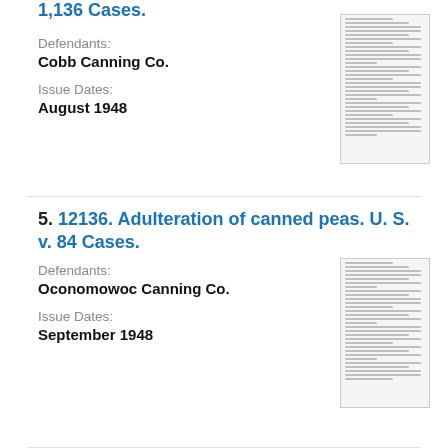1,136 Cases.
Defendants:
Cobb Canning Co.
Issue Dates:
August 1948
5. 12136. Adulteration of canned peas. U. S. v. 84 Cases.
Defendants:
Oconomowoc Canning Co.
Issue Dates:
September 1948